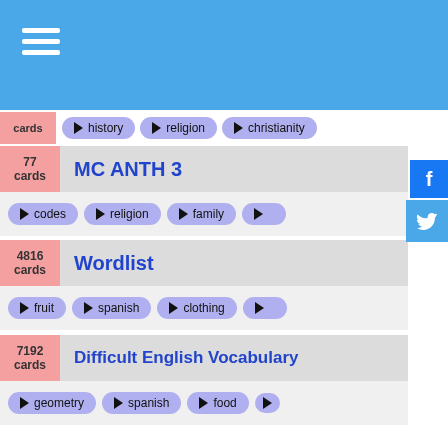cards | history | religion | christianity
77 cards | MC ANTH 3 | codes | religion | family | s
4816 cards | Wordlist | fruit | spanish | clothing | g
7192 cards | Difficult English Vocabulary | geometry | spanish | food
2607 cards | Baron's GRE | business | laws | management
45 cards | roselyn setR | religion | information | development
1535 cards | Korean, all | animals | religion | colors